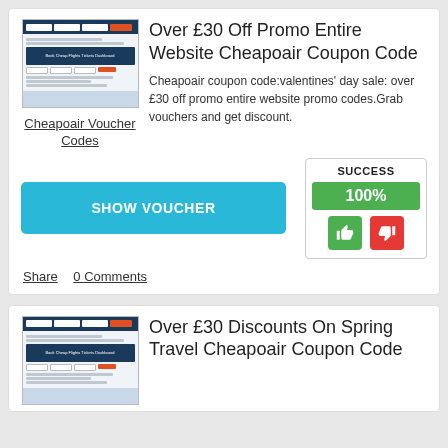[Figure (screenshot): Screenshot of Cheapoair website]
Cheapoair Voucher Codes
Over £30 Off Promo Entire Website Cheapoair Coupon Code
Cheapoair coupon code:valentines' day sale: over £30 off promo entire website promo codes.Grab vouchers and get discount.
SHOW VOUCHER
SUCCESS
100%
Share    0 Comments
[Figure (screenshot): Screenshot of Cheapoair website second card]
Over £30 Discounts On Spring Travel Cheapoair Coupon Code